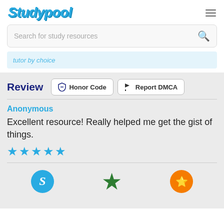[Figure (logo): Studypool logo in blue cursive/italic font]
Search for study resources
tutor by choice
Review
Honor Code
Report DMCA
Anonymous
Excellent resource! Really helped me get the gist of things.
[Figure (other): Five blue star rating icons]
[Figure (other): Three footer icons: Studypool S logo (blue circle), green star, orange chat bubble with star]
Studypool        Trustpilot        Sitejabber